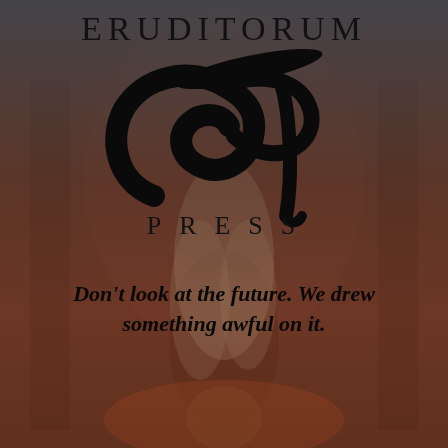[Figure (illustration): Background fantasy artwork showing a figure with long white/silver hair viewed from behind, standing in an ornate arched interior. Warm reddish-brown tones with dark overlay gradient.]
ERUDITORUM
[Figure (logo): Eruditorum Press stylized EP logo — a large bold italic cursive 'E' combined with 'P', forming an elegant swooping calligraphic mark in black.]
PRESS
Don't look at the future. We drew something awful on it.